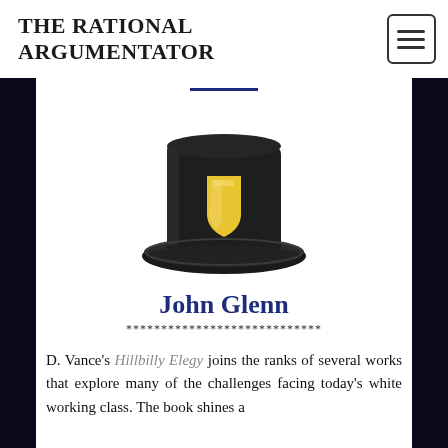THE RATIONAL ARGUMENTATOR
[Figure (illustration): A black top hat with a gold/yellow shield emblem on the front, illustrated in a cartoon style.]
John Glenn
****************************
D. Vance's Hillbilly Elegy joins the ranks of several works that explore many of the challenges facing today's white working class. The book shines a